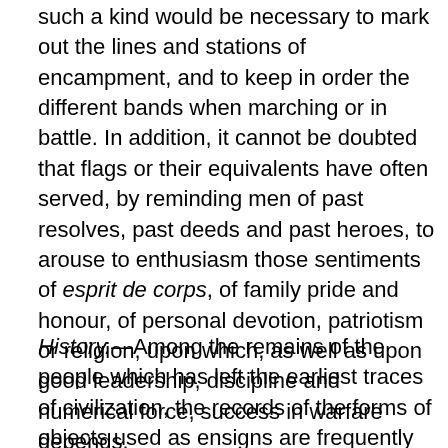such a kind would be necessary to mark out the lines and stations of encampment, and to keep in order the different bands when marching or in battle. In addition, it cannot be doubted that flags or their equivalents have often served, by reminding men of past resolves, past deeds and past heroes, to arouse to enthusiasm those sentiments of esprit de corps, of family pride and honour, of personal devotion, patriotism or religion, upon which, as well as upon good leadership, discipline and numerical force, success in warfare depends.
History.—Among the remains of the people which has left the earliest traces of civilization, the records of the forms of objects used as ensigns are frequently to be found. From their carvings and paintings, supplemented by ancient writers, it appears that several companies of the Egyptian army had their own particular standards. These were formed of such objects as, there is reason to believe